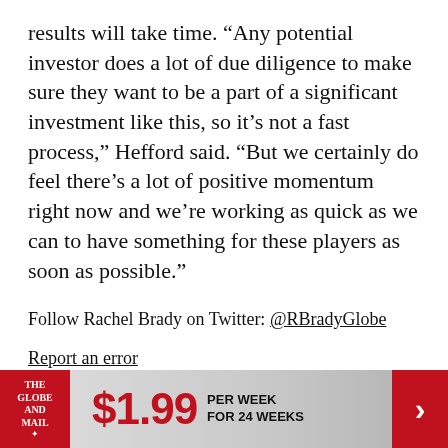results will take time. “Any potential investor does a lot of due diligence to make sure they want to be a part of a significant investment like this, so it’s not a fast process,” Hefford said. “But we certainly do feel there’s a lot of positive momentum right now and we’re working as quick as we can to have something for these players as soon as possible.”
Follow Rachel Brady on Twitter: @RBradyGlobe
Report an error
Editorial code of conduct
[Figure (infographic): The Globe and Mail advertisement banner: logo on left, $1.99 per week for 24 weeks promotional offer, red arrow on right]